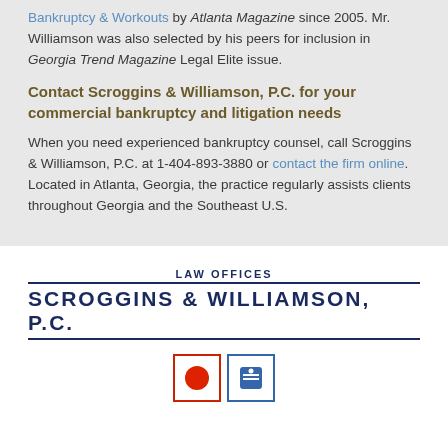Bankruptcy & Workouts by Atlanta Magazine since 2005. Mr. Williamson was also selected by his peers for inclusion in Georgia Trend Magazine Legal Elite issue.
Contact Scroggins & Williamson, P.C. for your commercial bankruptcy and litigation needs
When you need experienced bankruptcy counsel, call Scroggins & Williamson, P.C. at 1-404-893-3880 or contact the firm online. Located in Atlanta, Georgia, the practice regularly assists clients throughout Georgia and the Southeast U.S.
[Figure (logo): Law Offices Scroggins & Williamson, P.C. logo with social media icons (red circle icon and blue square icon)]
Scroggins & Williamson, P.C. is located in Atlanta, GA and serves clients throughout Georgia and the Southeast.
Attorney Advertising. This website is designed for general information only. The